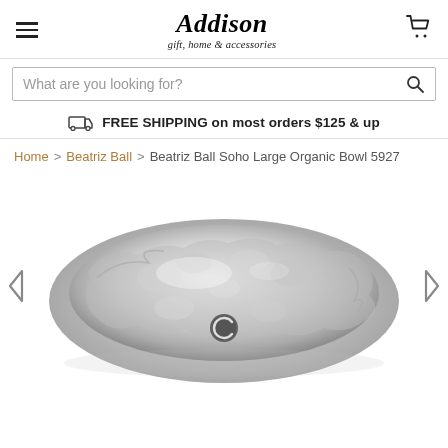Addison gift, home & accessories
What are you looking for?
FREE SHIPPING on most orders $125 & up
Home > Beatriz Ball > Beatriz Ball Soho Large Organic Bowl 5927
[Figure (photo): Silver/aluminum metallic Beatriz Ball Soho Large Organic Bowl 5927, photographed from above at an angle, showing the hammered, organic-shaped interior with a Beatriz Ball logo medallion at center bottom. Navigation arrows (left and right) appear on the sides.]